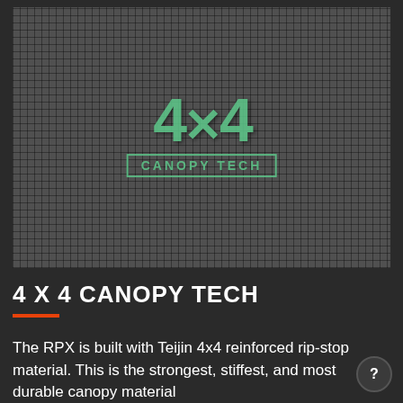[Figure (photo): Close-up photo of dark grey/black fabric with a woven grid pattern (rip-stop material). Overlaid in the center is a green logo showing '4X4' in large bold text with 'CANOPY TECH' in a bordered label beneath it.]
4 X 4 CANOPY TECH
The RPX is built with Teijin 4x4 reinforced rip-stop material. This is the strongest, stiffest, and most durable canopy material